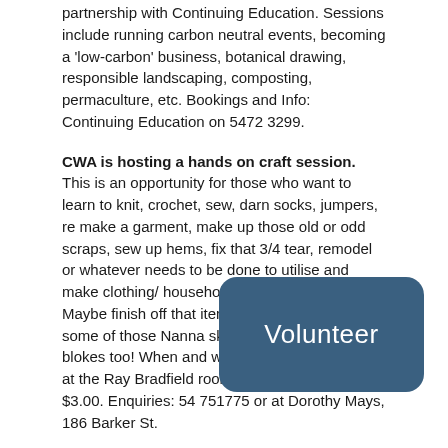partnership with Continuing Education. Sessions include running carbon neutral events, becoming a 'low-carbon' business, botanical drawing, responsible landscaping, composting, permaculture, etc. Bookings and Info: Continuing Education on 5472 3299.
CWA is hosting a hands on craft session. This is an opportunity for those who want to learn to knit, crochet, sew, darn socks, jumpers, re make a garment, make up those old or odd scraps, sew up hems, fix that 3/4 tear, remodel or whatever needs to be done to utilise and make clothing/ household items go further. Maybe finish off that item in the cupboard. Learn some of those Nanna skills and yes it's for blokes too! When and where: Saturday 26th July at the Ray Bradfield rooms 1.30 – 4.30pm. Cost: $3.00. Enquiries: 54 751775 or at Dorothy Mays, 186 Barker St.
[Figure (other): Dark blue/teal rounded rectangle button with text 'Volunteer' in white]
Castlemaine Land Care Group. Sunday 10:00am onwards. National Tree Day planting, Forest Creek (opposite Castle Motel). Further information: Robin